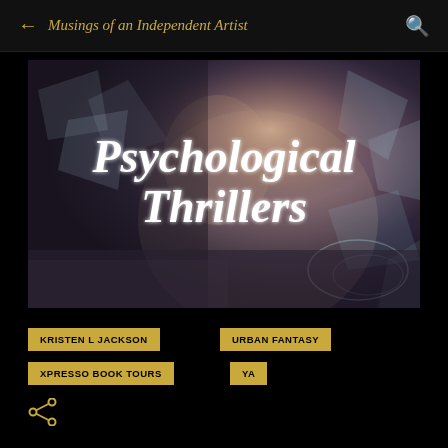Musings of an Independent Artist
[Figure (photo): Promotional banner image for Psychological Thrillers featuring a woman in a white dress against a dark background with shattered glass effects, with large italic script text reading 'Psychological Thrillers']
KRISTEN L JACKSON
URBAN FANTASY
XPRESSO BOOK TOURS
YA